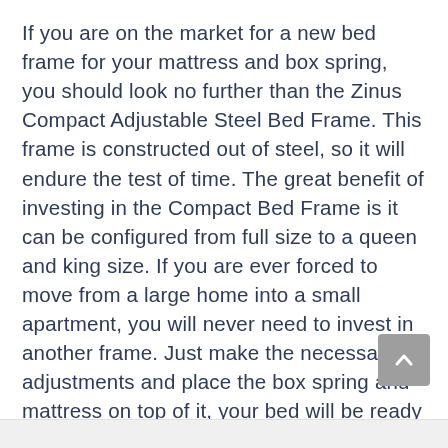If you are on the market for a new bed frame for your mattress and box spring, you should look no further than the Zinus Compact Adjustable Steel Bed Frame. This frame is constructed out of steel, so it will endure the test of time. The great benefit of investing in the Compact Bed Frame is it can be configured from full size to a queen and king size. If you are ever forced to move from a large home into a small apartment, you will never need to invest in another frame. Just make the necessary adjustments and place the box spring and mattress on top of it, your bed will be ready to use.